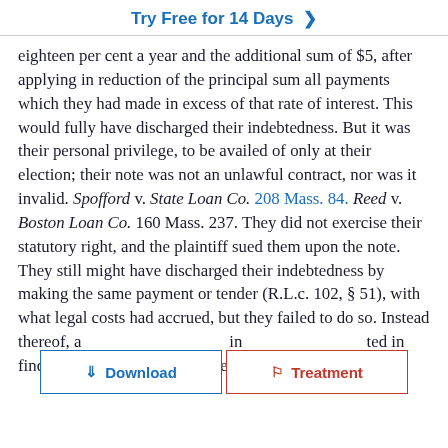Try Free for 14 Days >
eighteen per cent a year and the additional sum of $5, after applying in reduction of the principal sum all payments which they had made in excess of that rate of interest. This would fully have discharged their indebtedness. But it was their personal privilege, to be availed of only at their election; their note was not an unlawful contract, nor was it invalid. Spofford v. State Loan Co. 208 Mass. 84. Reed v. Boston Loan Co. 160 Mass. 237. They did not exercise their statutory right, and the plaintiff sued them upon the note. They still might have discharged their indebtedness by making the same payment or tender (R.L.c. 102, § 51), with what legal costs had accrued, but they failed to do so. Instead thereof, a[...] in [...] ted in finding, they chose to settle the action by paying a